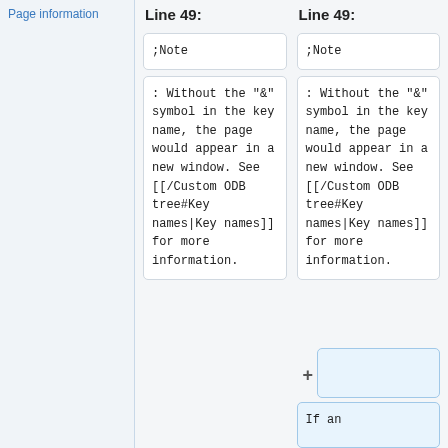Page information
Line 49:
Line 49:
;Note
;Note
: Without the "&" symbol in the key name, the page would appear in a new window. See [[/Custom ODB tree#Key names|Key names]] for more information.
: Without the "&" symbol in the key name, the page would appear in a new window. See [[/Custom ODB tree#Key names|Key names]] for more information.
+
If an